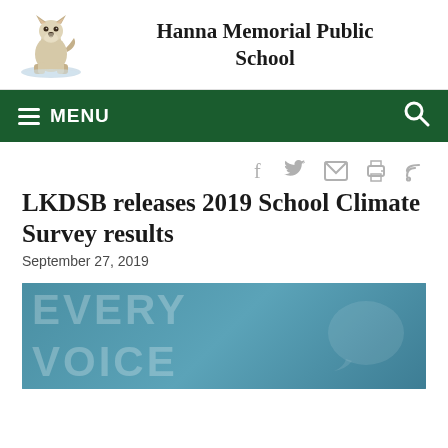[Figure (logo): Hanna Memorial Public School husky wolf logo — illustrated wolf/husky dog standing on snowy ground]
Hanna Memorial Public School
MENU
f  y  (email)  (print)  (rss)
LKDSB releases 2019 School Climate Survey results
September 27, 2019
[Figure (photo): Teal/blue banner image with large watermark text reading 'EVERY VOICE' and a decorative speech bubble graphic]